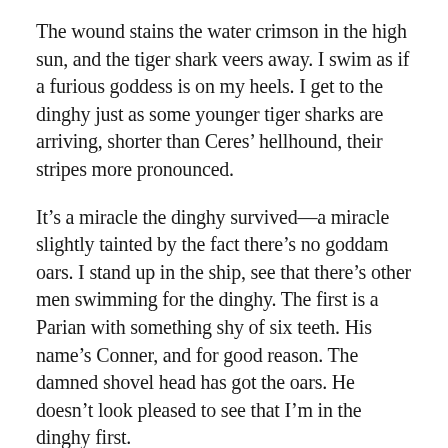The wound stains the water crimson in the high sun, and the tiger shark veers away. I swim as if a furious goddess is on my heels. I get to the dinghy just as some younger tiger sharks are arriving, shorter than Ceres' hellhound, their stripes more pronounced.
It's a miracle the dinghy survived—a miracle slightly tainted by the fact there's no goddam oars. I stand up in the ship, see that there's other men swimming for the dinghy. The first is a Parian with something shy of six teeth. His name's Conner, and for good reason. The damned shovel head has got the oars. He doesn't look pleased to see that I'm in the dinghy first.
“You look wet,” I say. I got no oars, but I’m not in the water with sharks.
“First mate,” he says. “You’re captain. And we need us a crew. Take it or leave it. The winds and waves aren’t